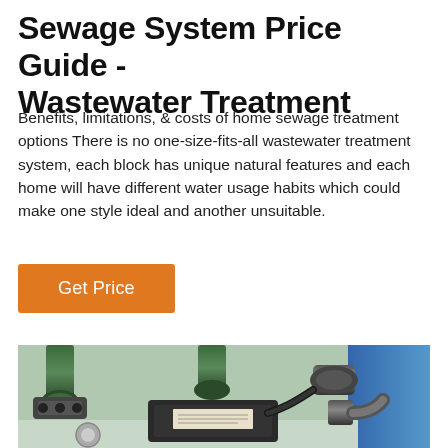Sewage System Price Guide - Wastewater Treatment
Benefits, limitations, & costs of home sewage treatment options There is no one-size-fits-all wastewater treatment system, each block has unique natural features and each home will have different water usage habits which could make one style ideal and another unsuitable.
[Figure (other): Orange 'Get Price' button with white text on an orange-brown background]
[Figure (photo): Close-up photo of wastewater treatment system pipes, valves, and fittings including dark grey PVC pipes, couplings, a black pump or control box with a label, and blue container in background]